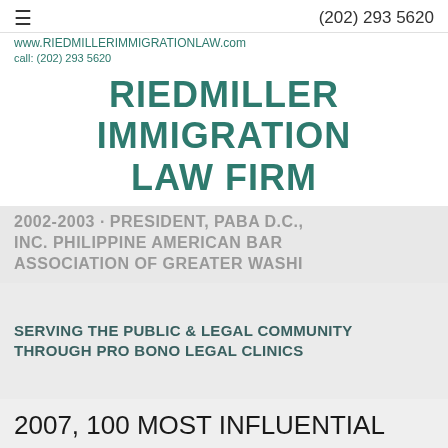(202) 293 5620 | www.RIEDMILLERIMMIGRATIONLAW.com | call: (202) 293 5620
RIEDMILLER IMMIGRATION LAW FIRM
2002-2003 · PRESIDENT, PABA D.C., INC. PHILIPPINE AMERICAN BAR ASSOCIATION OF GREATER WASHI
SERVING THE PUBLIC & LEGAL COMMUNITY THROUGH PRO BONO LEGAL CLINICS
2007, 100 MOST INFLUENTIAL FILIPINO WOMEN IN THE UNITED STATES AWARDEE (POLICY MAKERS &